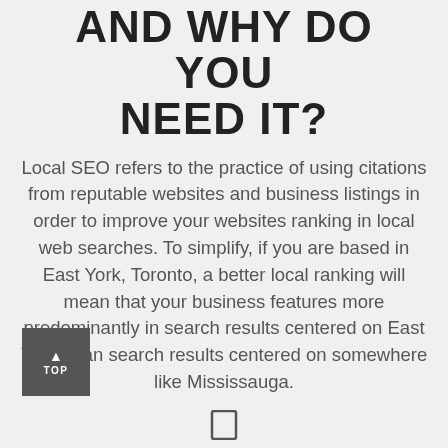AND WHY DO YOU NEED IT?
Local SEO refers to the practice of using citations from reputable websites and business listings in order to improve your websites ranking in local web searches. To simplify, if you are based in East York, Toronto, a better local ranking will mean that your business features more predominantly in search results centered on East York, than search results centered on somewhere like Mississauga.